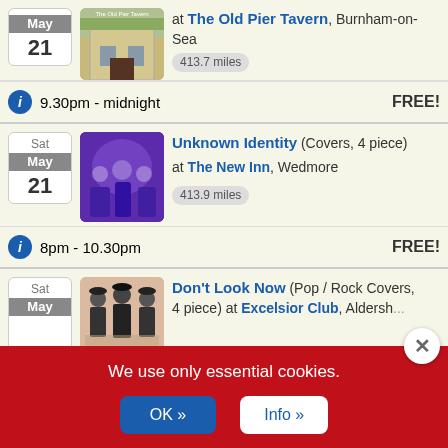May 21 at The Old Pier Tavern, Burnham-on-Sea 413.7 miles
9.30pm - midnight  FREE!
Sat May 21 Unknown Identity (Covers, 4 piece) at The New Inn, Wedmore 413.9 miles
8pm - 10.30pm  FREE!
Sat May Don't Look Now (Pop / Rock Covers, 4 piece) at Excelsior Club, Aldersh...
We use only essential cookies.
OK »
Info »